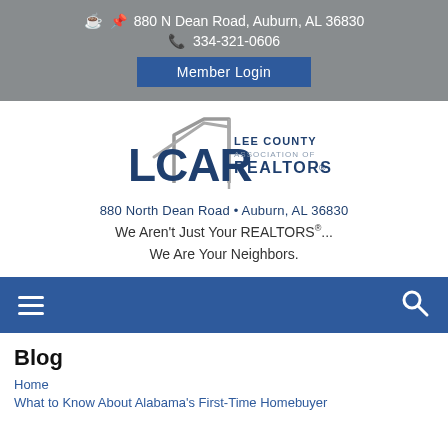880 N Dean Road, Auburn, AL 36830
334-321-0606
Member Login
[Figure (logo): LCAR Lee County Association of REALTORS logo with house roof graphic. Address: 880 North Dean Road • Auburn, AL 36830. Tagline: We Aren't Just Your REALTORS®... We Are Your Neighbors.]
We Aren't Just Your REALTORS®... We Are Your Neighbors.
Blog
Home
What to Know About Alabama's First-Time Homebuyer